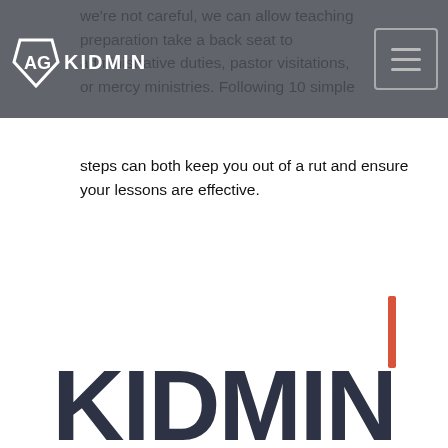AG KIDMIN
we're not careful, we can allow teaching preparation take a back seat to administrative duties, pastor visitations, or mercy ministries. Following 10 simple steps can both keep you out of a rut and ensure your lessons are effective.
[Figure (logo): KIDMIN CONFERENCE logo with large dark navy KIDMIN text and orange CONFERENCE text below, plus a decorative red vertical bar. Bottom of page shows partial AG KIDMIN logo text in navy/orange.]